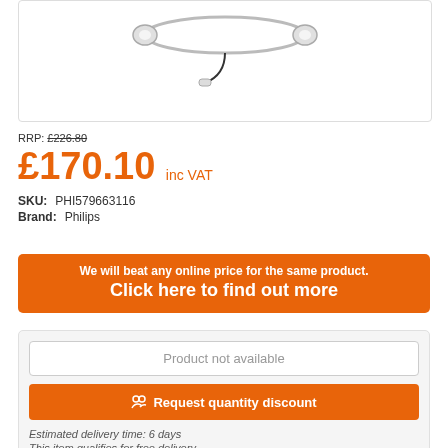[Figure (photo): Product photo of Philips earphones/headset on white background]
RRP: £226.80
£170.10 inc VAT
SKU: PHI579663116
Brand: Philips
We will beat any online price for the same product. Click here to find out more
Product not available
Request quantity discount
Estimated delivery time: 6 days
This item qualifies for free delivery.